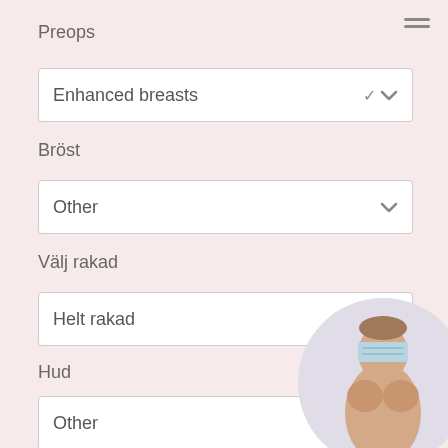Preops
Enhanced breasts
Bröst
Other
Välj rakad
Helt rakad
Hud
Other
Features
Allow comments
Profile is here for
[Figure (photo): Circular profile image showing a person's torso with face obscured by a blue patterned mask/band]